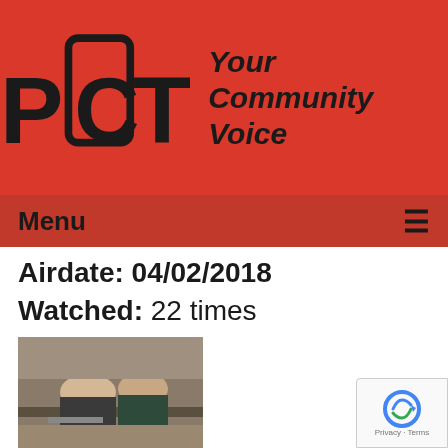[Figure (logo): PCTV logo with 'Your Community Voice' tagline on red background]
Menu ≡
Airdate: 04/02/2018
Watched: 22 times
[Figure (photo): Video thumbnail showing two people at a meeting, viewed from behind]
The Village Board Meeting of 03-26-18
Airdate: 03/26/2018